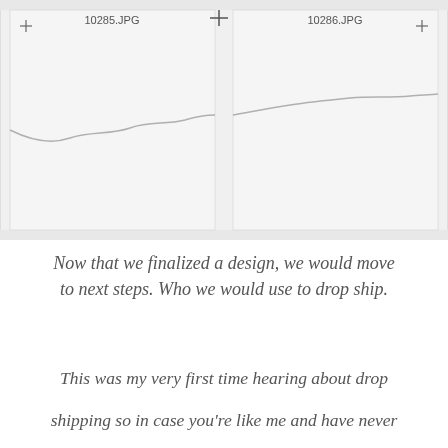[Figure (continuous-plot): A photographic film contact sheet strip showing two frames labeled 10285.JPG and 10286.JPG, with crosshair registration marks at corners and center. The frames show a light gray waveform/undulating line on a light background.]
Now that we finalized a design, we would move to next steps. Who we would use to drop ship.
This was my very first time hearing about drop shipping so in case you're like me and have never heard of it, I'll share a little of what drop shipping is.
Basically, with drop shipping you have zero inventory. You work with a company to directly distribute your products. It helps you save money